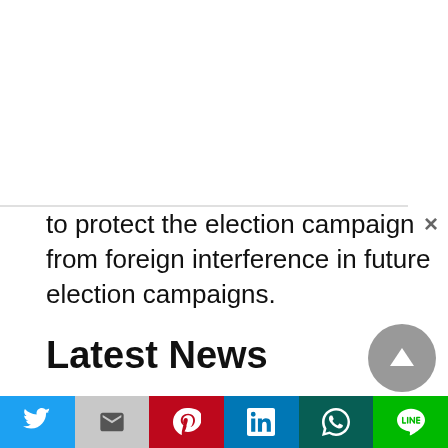to protect the election campaign from foreign interference in future election campaigns.
Latest News
Who is Noella McMaher? Youngest Trans Model Wiki Biography Age Instagram
[image item]
[Figure (photo): Photo of a woman, used as a list item thumbnail]
Social share bar: Twitter, Gmail, Pinterest, LinkedIn, WhatsApp, Line